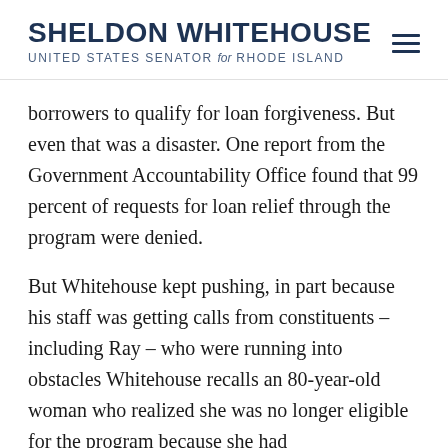SHELDON WHITEHOUSE UNITED STATES SENATOR for RHODE ISLAND
borrowers to qualify for loan forgiveness. But even that was a disaster. One report from the Government Accountability Office found that 99 percent of requests for loan relief through the program were denied.
But Whitehouse kept pushing, in part because his staff was getting calls from constituents – including Ray – who were running into obstacles Whitehouse recalls an 80-year-old woman who realized she was no longer eligible for the program because she had